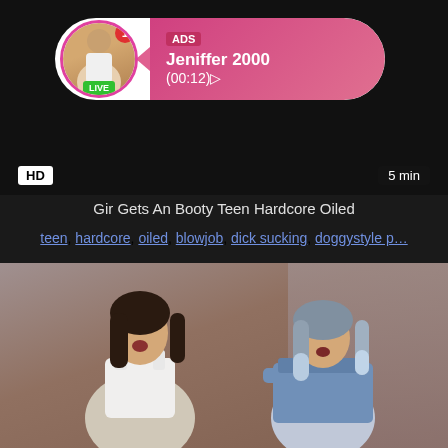[Figure (screenshot): Video thumbnail with dark background showing an ad overlay pill with avatar, LIVE badge, ADS label, name Jeniffer 2000, time (00:12), HD badge bottom left, 5 min duration bottom right]
Gir Gets An Booty Teen Hardcore Oiled
teen, hardcore, oiled, blowjob, dick sucking, doggystyle p…
[Figure (photo): Video thumbnail showing two people sitting on a bed, one with dark hair in white top, one with blue/gray hair in blue off-shoulder top, curtains in background]